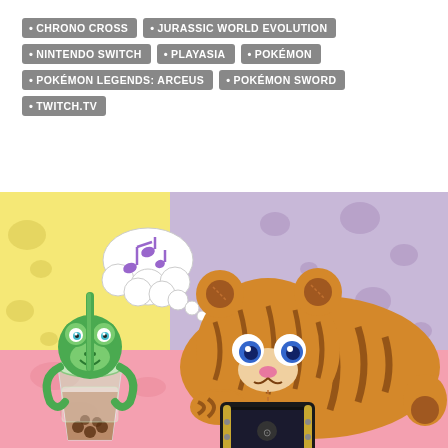• CHRONO CROSS
• JURASSIC WORLD EVOLUTION
• NINTENDO SWITCH
• PLAYASIA
• POKÉMON
• POKÉMON LEGENDS: ARCEUS
• POKÉMON SWORD
• TWITCH.TV
[Figure (illustration): Cartoon illustration of a fluffy orange striped bear/cat plush toy lying down playing a Nintendo Switch console, with a cute frog bubble tea character beside it and a musical note speech bubble above. Colorful background with yellow, lavender, and pink sections.]